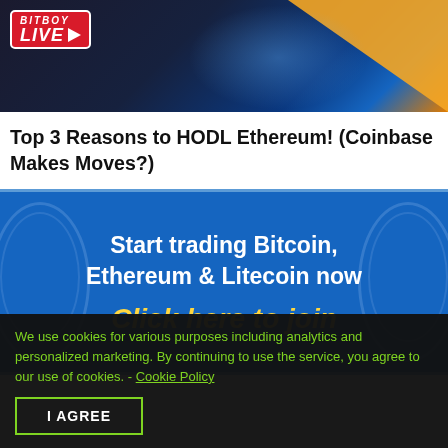[Figure (screenshot): BitBoy LIVE thumbnail with red badge logo, anime-style character, and orange/blue gradient background]
Top 3 Reasons to HODL Ethereum! (Coinbase Makes Moves?)
[Figure (screenshot): Advertisement banner with blue background: 'Start trading Bitcoin, Ethereum & Litecoin now' in white text, and 'Click here to join' in yellow italic text]
We use cookies for various purposes including analytics and personalized marketing. By continuing to use the service, you agree to our use of cookies. - Cookie Policy
I AGREE